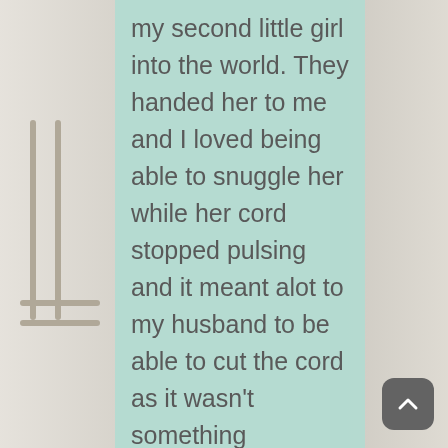[Figure (photo): Background photo showing a nursery room with a rocking chair on the left and a person with a baby on the right, with a mint/teal semi-transparent overlay panel in the center]
my second little girl into the world. They handed her to me and I loved being able to snuggle her while her cord stopped pulsing and it meant alot to my husband to be able to cut the cord as it wasn't something